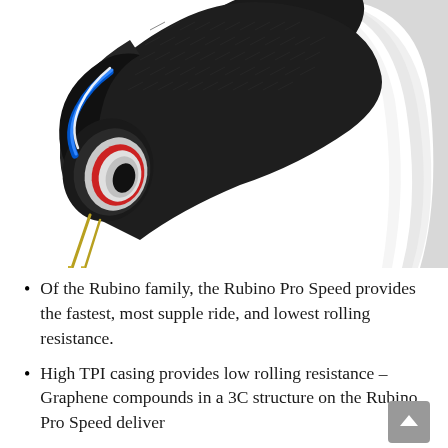[Figure (photo): Cross-section cutaway illustration of a bicycle tire (Vittoria Rubino Pro Speed) mounted on a white aerodynamic rim. The tire shows internal layers including casing, graphene compound layers shown in red and white, and a blue bead. Two valve pins protrude from the bead at the lower left. The white rim curves dramatically upward on the right side.]
Of the Rubino family, the Rubino Pro Speed provides the fastest, most supple ride, and lowest rolling resistance.
High TPI casing provides low rolling resistance – Graphene compounds in a 3C structure on the Rubino Pro Speed deliver